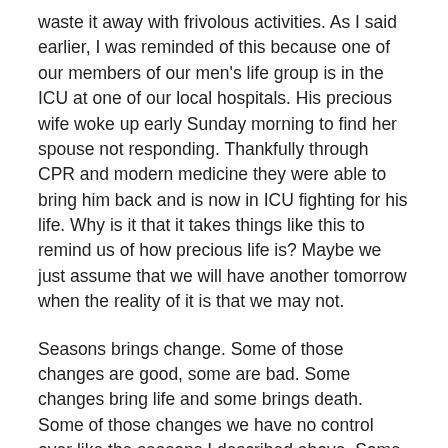waste it away with frivolous activities.  As I said earlier, I was reminded of this because one of our members of our men's life group is in the ICU at one of our local hospitals.  His precious wife woke up early Sunday morning to find her spouse not responding.  Thankfully through CPR and modern medicine they were able to bring him back and is now in ICU fighting for his life.  Why is it that it takes things like this to remind us of how precious life is?  Maybe we just assume that we will have another tomorrow when the reality of it is that we may not.
Seasons brings change.  Some of those changes are good, some are bad.  Some changes bring life and some brings death.  Some of those changes we have no control over like the seasons I described above.  Some things in our lives we do have control over such as how will I spend this 24 hours.  In a 24 hour period I get between 6 and 8 hours of sleep.  That leaves me